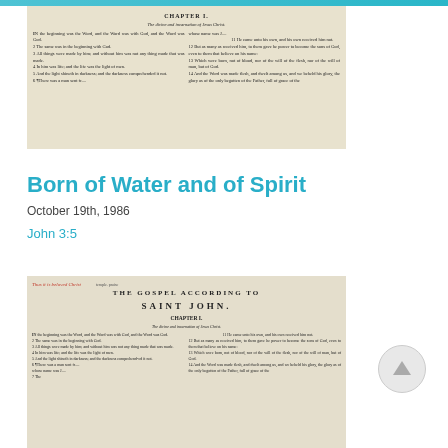[Figure (photo): Photo of an open Bible showing the Gospel of John Chapter 1, with text columns and verse numbers visible]
Born of Water and of Spirit
October 19th, 1986
John 3:5
[Figure (photo): Photo of an open Bible showing The Gospel According to Saint John, Chapter 1, with red highlighted text reading 'Thus it is beloved Christ']